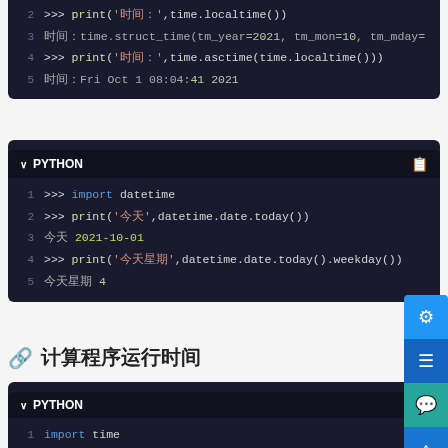[Figure (screenshot): Python code block showing time module usage with print and localtime/asctime calls and outputs]
[Figure (screenshot): Python code block showing datetime module usage with date.today() and weekday() calls]
计算程序运行时间
[Figure (screenshot): Python code block beginning with import time]